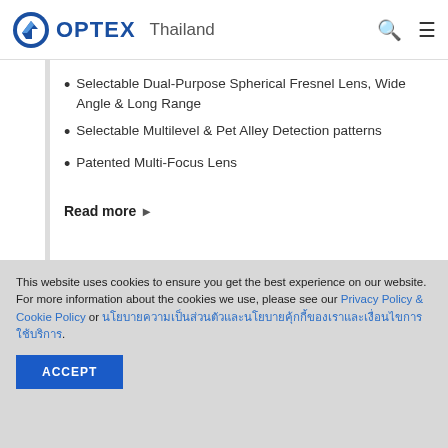OPTEX Thailand
Selectable Dual-Purpose Spherical Fresnel Lens, Wide Angle & Long Range
Selectable Multilevel & Pet Alley Detection patterns
Patented Multi-Focus Lens
Read more ▶
This website uses cookies to ensure you get the best experience on our website.
For more information about the cookies we use, please see our Privacy Policy & Cookie Policy or นโยบายความเป็นส่วนตัวและข้อตกลงและเงื่อนไขการใช้บริการ.
ACCEPT